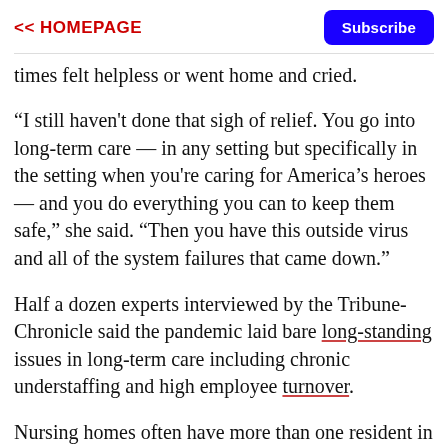<< HOMEPAGE   Subscribe
times felt helpless or went home and cried.
“I still haven't done that sigh of relief. You go into long-term care — in any setting but specifically in the setting when you're caring for America’s heroes — and you do everything you can to keep them safe,” she said. “Then you have this outside virus and all of the system failures that came down.”
Half a dozen experts interviewed by the Tribune-Chronicle said the pandemic laid bare long-standing issues in long-term care including chronic understaffing and high employee turnover.
Nursing homes often have more than one resident in each room, which can make it difficult to